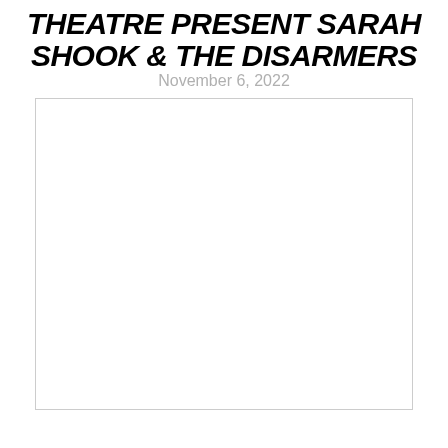THEATRE PRESENT SARAH SHOOK & THE DISARMERS
November 6, 2022
[Figure (photo): Large empty white rectangle with a thin border, representing a placeholder image area for the event]